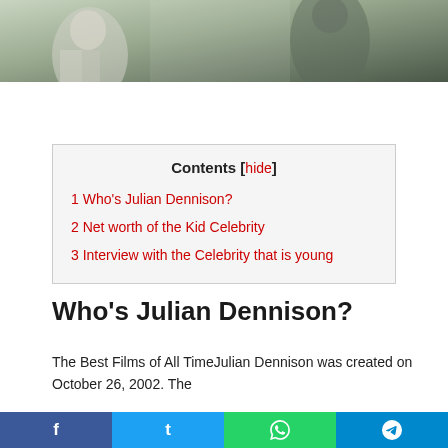[Figure (photo): Partial photo of people outdoors, cropped at top of page]
Contents [hide]
1 Who’s Julian Dennison?
2 Net worth of the Kid Celebrity
3 Interview with the Celebrity that is young
Who’s Julian Dennison?
The Best Films of All TimeJulian Dennison was created on October 26, 2002. The
f  t  (whatsapp icon)  (telegram icon)